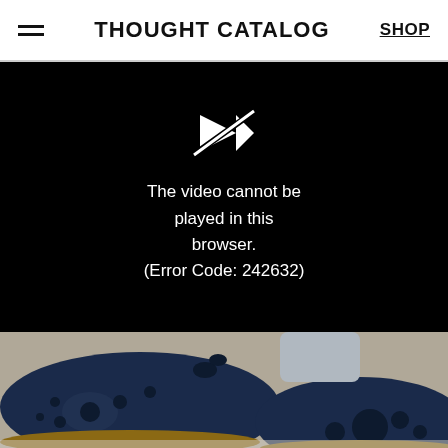THOUGHT CATALOG   SHOP
[Figure (screenshot): Video player showing error: 'The video cannot be played in this browser. (Error Code: 242632)' on black background]
The video cannot be played in this browser.
(Error Code: 242632)
[Figure (photo): Close-up photo of navy blue laser-cut suede flat sandals with floral cutout pattern, worn by a person, with tan leather sole visible]